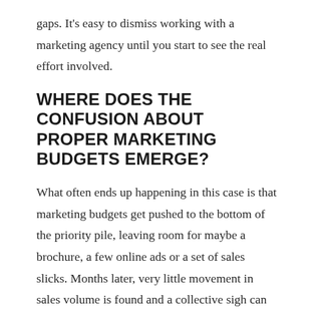gaps. It's easy to dismiss working with a marketing agency until you start to see the real effort involved.
WHERE DOES THE CONFUSION ABOUT PROPER MARKETING BUDGETS EMERGE?
What often ends up happening in this case is that marketing budgets get pushed to the bottom of the priority pile, leaving room for maybe a brochure, a few online ads or a set of sales slicks. Months later, very little movement in sales volume is found and a collective sigh can be heard from management when working with a marketing